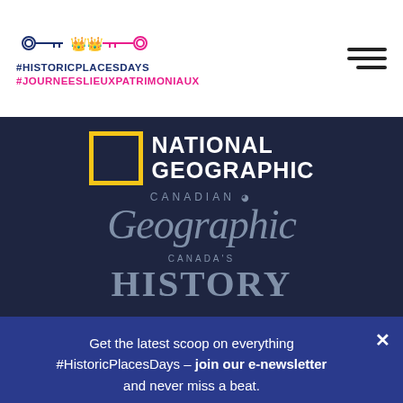#HISTORICPLACESDAYS #JOURNEESLIEUXPATRIMONIAUX
[Figure (logo): National Geographic logo: yellow square border with NATIONAL GEOGRAPHIC text in white bold caps]
[Figure (logo): Canadian Geographic logo in grey italic serif font on dark background]
[Figure (logo): Canada's History logo in grey serif font on dark background]
Get the latest scoop on everything #HistoricPlacesDays – join our e-newsletter and never miss a beat.